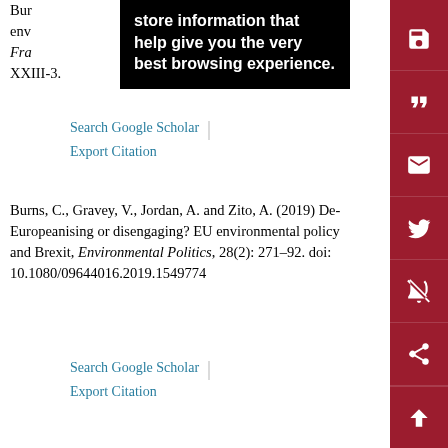[Figure (other): Black tooltip overlay with white bold text: 'store information that help give you the very best browsing experience.']
Burns, ... env... Fra... XXIII-3.
Search Google Scholar | Export Citation
Burns, C., Gravey, V., Jordan, A. and Zito, A. (2019) De-Europeanising or disengaging? EU environmental policy and Brexit, Environmental Politics, 28(2): 271–92. doi: 10.1080/09644016.2019.1549774
Search Google Scholar | Export Citation
Casalicchio, E. (2021) UK and Australia sign first brand new post-Brexit trade deal, Politico https://www.politico.eu/article/uk-and-australia-sign-first-brand-new-post-brexit-trade-deal/.
Search Google Scholar | Export Citation